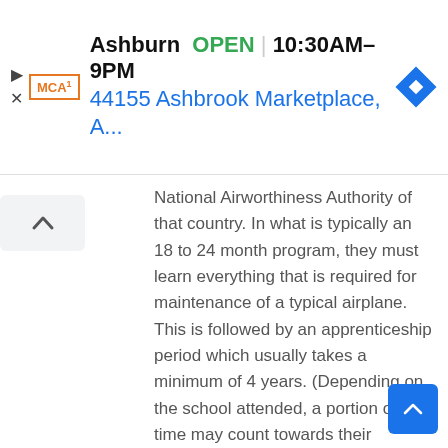[Figure (screenshot): Ad banner showing MCA logo, Ashburn location, OPEN status, hours 10:30AM-9PM, address 44155 Ashbrook Marketplace, A..., and navigation diamond icon]
National Airworthiness Authority of that country. In what is typically an 18 to 24 month program, they must learn everything that is required for maintenance of a typical airplane. This is followed by an apprenticeship period which usually takes a minimum of 4 years. (Depending on the school attended, a portion of that time may count towards their apprenticeship.)

Students attend approved training 9 weeks a year over a period of 4 years while the student works in industry, on-job training (OJT). This allows the apprentice to